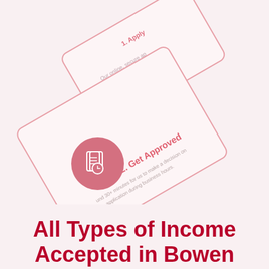[Figure (infographic): Two overlapping rotated cards showing steps in a loan application process. Card 1 (top-left, rotated) shows partial text about an online secure application taking minutes. Card 2 (middle, rotated) shows step '2. Get Approved' with a pink circular icon containing a document/approval symbol, and text about 30+ minutes to make a decision on an application during business hours.]
All Types of Income Accepted in Bowen